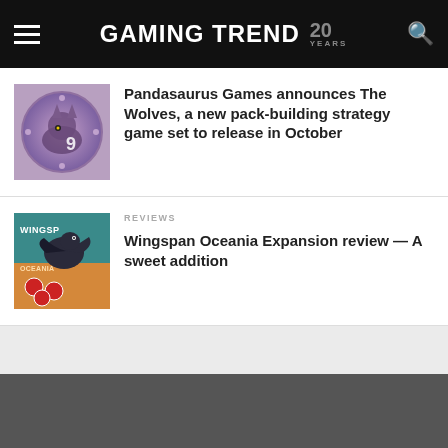GAMING TREND 20 YEARS
[Figure (illustration): Thumbnail image for The Wolves article — circular wolf illustration with decorative elements]
Pandasaurus Games announces The Wolves, a new pack-building strategy game set to release in October
[Figure (illustration): Wingspan Oceania Expansion box art thumbnail — bird imagery on orange/teal background]
REVIEWS
Wingspan Oceania Expansion review — A sweet addition